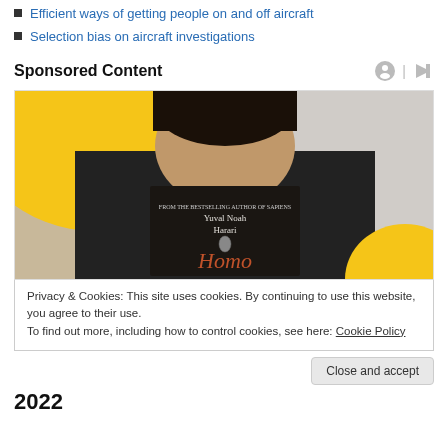Efficient ways of getting people on and off aircraft
Selection bias on aircraft investigations
Sponsored Content
[Figure (photo): Person holding up a book titled 'Homo' by Yuval Noah Harari, cover showing partial title and author name, yellow background in upper left corner of photo]
Privacy & Cookies: This site uses cookies. By continuing to use this website, you agree to their use. To find out more, including how to control cookies, see here: Cookie Policy
Close and accept
2022